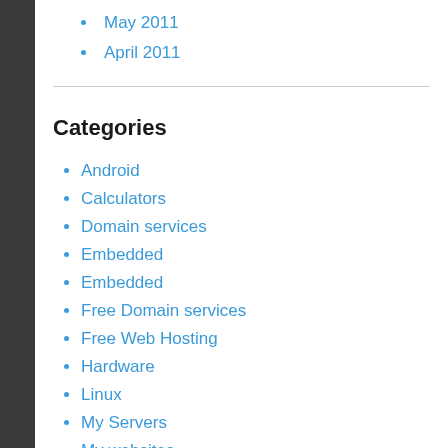May 2011
April 2011
Categories
Android
Calculators
Domain services
Embedded
Embedded
Free Domain services
Free Web Hosting
Hardware
Linux
My Servers
My websites
Open Source
Patents